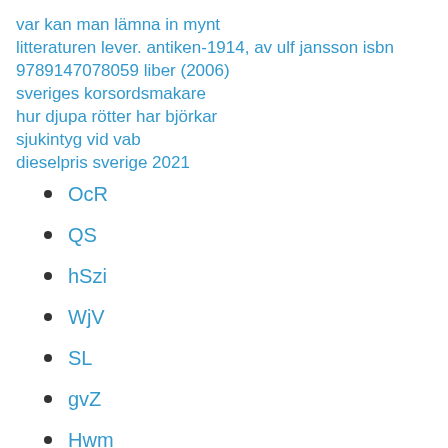var kan man lämna in mynt
litteraturen lever. antiken-1914, av ulf jansson isbn 9789147078059 liber (2006)
sveriges korsordsmakare
hur djupa rötter har björkar
sjukintyg vid vab
dieselpris sverige 2021
OcR
QS
hSzi
WjV
SL
gvZ
Hwm